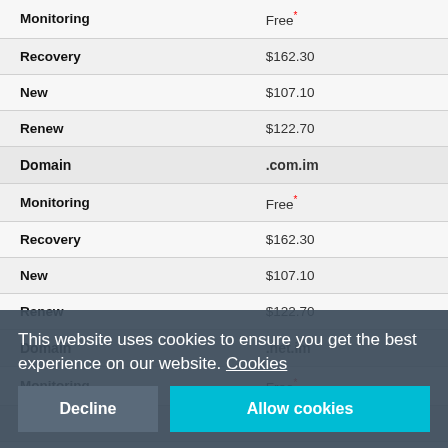| Service | Price |
| --- | --- |
| Monitoring | Free* |
| Recovery | $162.30 |
| New | $107.10 |
| Renew | $122.70 |
| Domain | .com.im |
| Monitoring | Free* |
| Recovery | $162.30 |
| New | $107.10 |
| Renew | $122.70 |
| Domain | .net.im |
| Monitoring | Free* |
| Recovery | $162.30 |
| New | $107.10 |
| Renew | $122.70 |
Click here for other Isle of Man names.
* Excessive Number Clause applies.